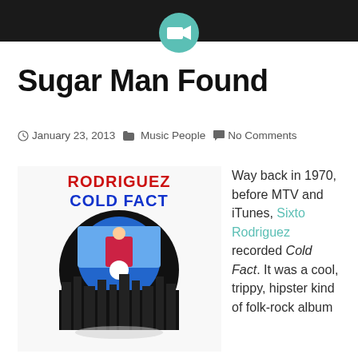[header bar with camera icon]
Sugar Man Found
January 23, 2013   Music People   No Comments
[Figure (photo): Rodriguez Cold Fact album cover showing a CD/vinyl record with Rodriguez standing in front of a city skyline, text 'RODRIGUEZ COLD FACT' in red and blue at top]
Way back in 1970, before MTV and iTunes, Sixto Rodriguez recorded Cold Fact. It was a cool, trippy, hipster kind of folk-rock album